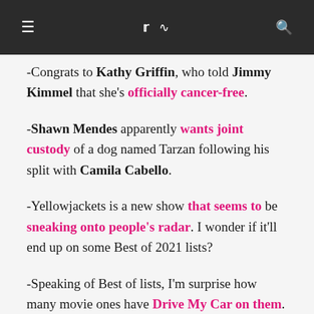≡  𝕏 ⌂  🔍
-Congrats to Kathy Griffin, who told Jimmy Kimmel that she's officially cancer-free.
-Shawn Mendes apparently wants joint custody of a dog named Tarzan following his split with Camila Cabello.
-Yellowjackets is a new show that seems to be sneaking onto people's radar. I wonder if it'll end up on some Best of 2021 lists?
-Speaking of Best of lists, I'm surprise how many movie ones have Drive My Car on them. I